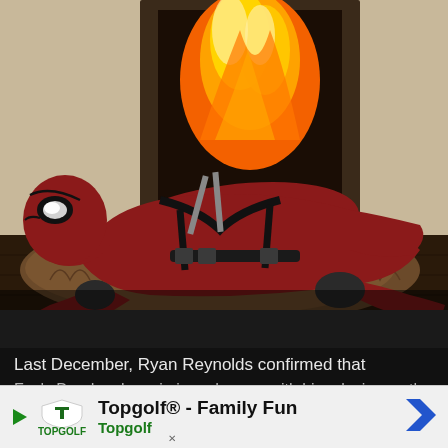[Figure (photo): Deadpool character in red and black costume lounging on a fur rug in front of a fireplace with flames visible, holding weapons, in a promotional movie pose]
Last December, Ryan Reynolds confirmed that
Fox's Deadpool movie is underway, with him playing as the
Merc wi
[Figure (other): Advertisement banner for Topgolf - Family Fun showing Topgolf logo, play button, and navigation arrow]